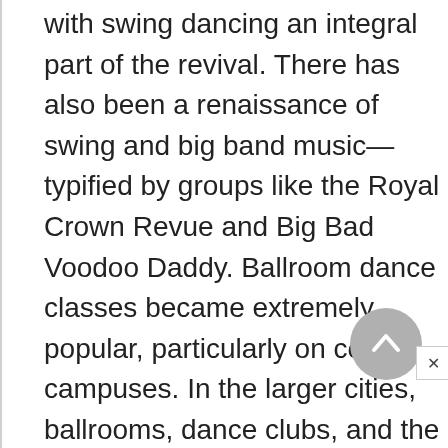with swing dancing an integral part of the revival. There has also been a renaissance of swing and big band music—typified by groups like the Royal Crown Revue and Big Bad Voodoo Daddy. Ballroom dance classes became extremely popular, particularly on college campuses. In the larger cities, ballrooms, dance clubs, and the larger dance teaching studios offer special nights of swing dancing. Contemporary social dancing reflected an extensive process of